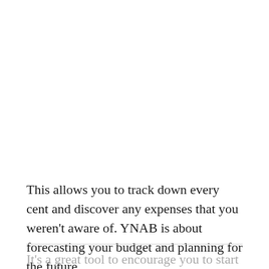This allows you to track down every cent and discover any expenses that you weren't aware of. YNAB is about forecasting your budget and planning for the future.
It's a great tool to encourage you to start saving and taking your budget seriously. YNAB costs $11.99 per